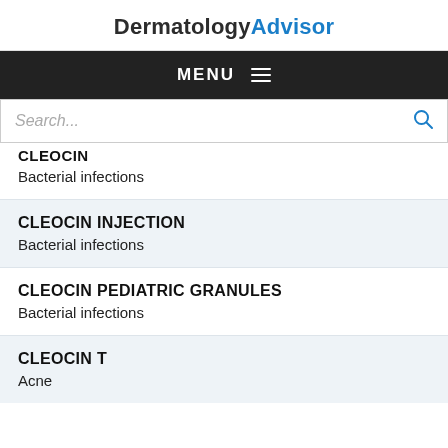DermatologyAdvisor
MENU
Search...
CLEOCIN
Bacterial infections
CLEOCIN INJECTION
Bacterial infections
CLEOCIN PEDIATRIC GRANULES
Bacterial infections
CLEOCIN T
Acne